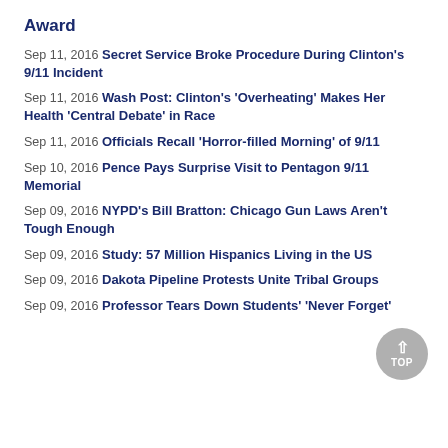Award
Sep 11, 2016 Secret Service Broke Procedure During Clinton's 9/11 Incident
Sep 11, 2016 Wash Post: Clinton's 'Overheating' Makes Her Health 'Central Debate' in Race
Sep 11, 2016 Officials Recall 'Horror-filled Morning' of 9/11
Sep 10, 2016 Pence Pays Surprise Visit to Pentagon 9/11 Memorial
Sep 09, 2016 NYPD's Bill Bratton: Chicago Gun Laws Aren't Tough Enough
Sep 09, 2016 Study: 57 Million Hispanics Living in the US
Sep 09, 2016 Dakota Pipeline Protests Unite Tribal Groups
Sep 09, 2016 Professor Tears Down Students' 'Never Forget'